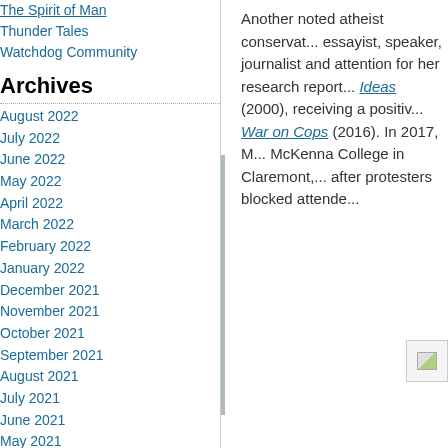The Spirit of Man
Thunder Tales
Watchdog Community
Archives
August 2022
July 2022
June 2022
May 2022
April 2022
March 2022
February 2022
January 2022
December 2021
November 2021
October 2021
September 2021
August 2021
July 2021
June 2021
May 2021
April 2021
March 2021
February 2021
January 2021
December 2020
November 2020
October 2020
September 2020
August 2020
Another noted atheist conservative is an essayist, speaker, journalist and gained attention for her research report... Ideas (2000), receiving a positive... War on Cops (2016). In 2017, M... McKenna College in Claremont, ... after protesters blocked attende...
[Figure (other): Broken image placeholder icon]